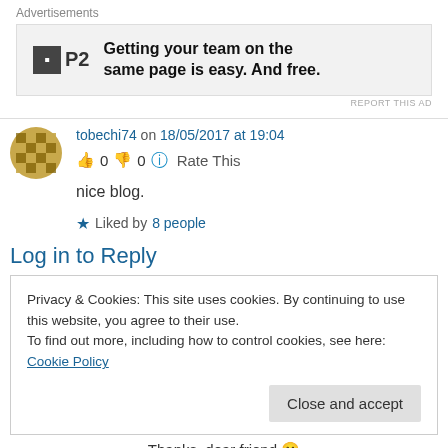Advertisements
[Figure (other): Advertisement banner for P2: 'Getting your team on the same page is easy. And free.' with P2 logo]
REPORT THIS AD
tobechi74 on 18/05/2017 at 19:04
👍 0 👎 0 ℹ Rate This
nice blog.
★ Liked by 8 people
Log in to Reply
Privacy & Cookies: This site uses cookies. By continuing to use this website, you agree to their use.
To find out more, including how to control cookies, see here: Cookie Policy
Close and accept
Thanks, dear friend 🙂